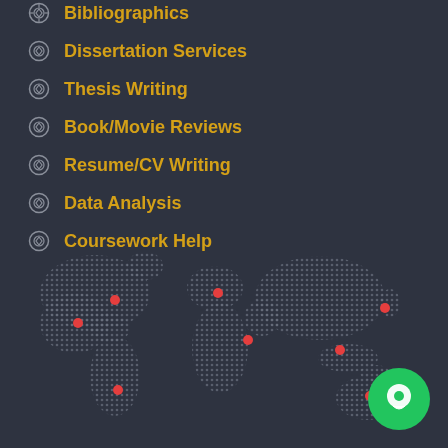Bibliographics
Dissertation Services
Thesis Writing
Book/Movie Reviews
Resume/CV Writing
Data Analysis
Coursework Help
[Figure (map): Dotted world map on dark background with red dot markers indicating service locations across continents]
[Figure (other): Green circle chat button with white speech bubble icon]